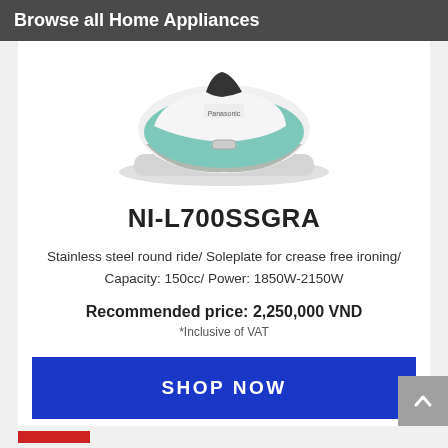Browse all Home Appliances
[Figure (photo): Product photo of Panasonic NI-L700SSGRA steam iron, white with teal/green soleplate, shown docked on base, top-down angle]
NI-L700SSGRA
Stainless steel round ride/ Soleplate for crease free ironing/ Capacity: 150cc/ Power: 1850W-2150W
Recommended price: 2,250,000 VND
*Inclusive of VAT
SHOP NOW